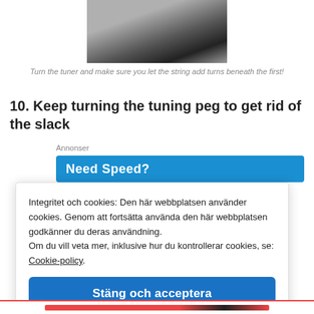[Figure (photo): Close-up photo of a guitar tuning peg and string on a guitar headstock]
Turn the tuner and make sure you let the string add turns beneath the first!
10. Keep turning the tuning peg to get rid of the slack
[Figure (other): Advertisement banner with blue background showing 'Need Speed?' text]
Integritet och cookies: Den här webbplatsen använder cookies. Genom att fortsätta använda den här webbplatsen godkänner du deras användning.
Om du vill veta mer, inklusive hur du kontrollerar cookies, se: Cookie-policy.